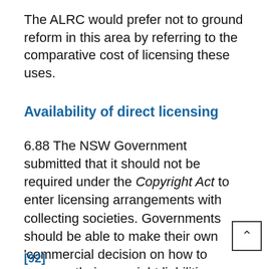The ALRC would prefer not to ground reform in this area by referring to the comparative cost of licensing these uses.
Availability of direct licensing
6.88 The NSW Government submitted that it should not be required under the Copyright Act to enter licensing arrangements with collecting societies. Governments should be able to make their own 'commercial decision on how to manage their copyright liabilities [92]